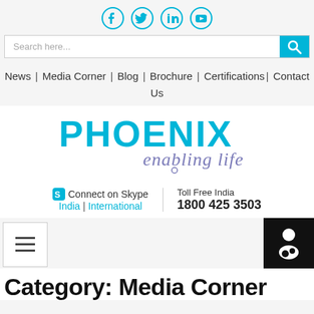[Figure (other): Social media icons: Facebook, Twitter, LinkedIn, YouTube in cyan/teal circle outlines]
[Figure (other): Search bar with placeholder 'Search here...' and cyan search button]
News | Media Corner | Blog | Brochure | Certifications | Contact Us
[Figure (logo): Phoenix enabling life logo - PHOENIX in large cyan letters, 'enabling life' in purple/grey below]
Connect on Skype  India | International   Toll Free India  1800 425 3503
[Figure (other): Hamburger menu button (three lines) on left, person/accessibility icon button on right]
Category: Media Corner